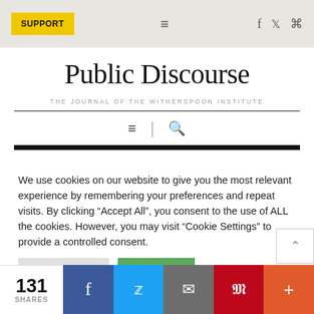SUPPORT
Public Discourse
THE JOURNAL OF THE WITHERSPOON INSTITUTE
We use cookies on our website to give you the most relevant experience by remembering your preferences and repeat visits. By clicking "Accept All", you consent to the use of ALL the cookies. However, you may visit "Cookie Settings" to provide a controlled consent.
131 SHARES